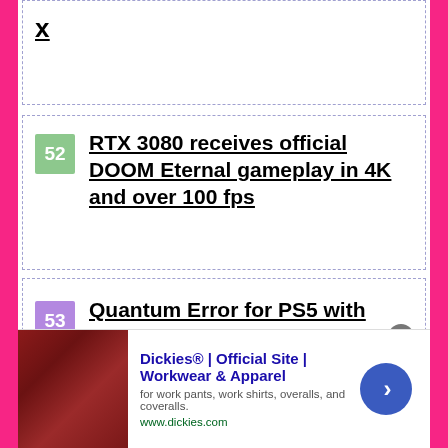X
52 — RTX 3080 receives official DOOM Eternal gameplay in 4K and over 100 fps
53 — Quantum Error for PS5 with DualSense and Tempest Engine that will affect the gaming experience. that's how
[Figure (screenshot): Advertisement: Dickies Official Site - Workwear & Apparel. Shows leather seating image on left, ad text in center, blue arrow button on right. URL: www.dickies.com]